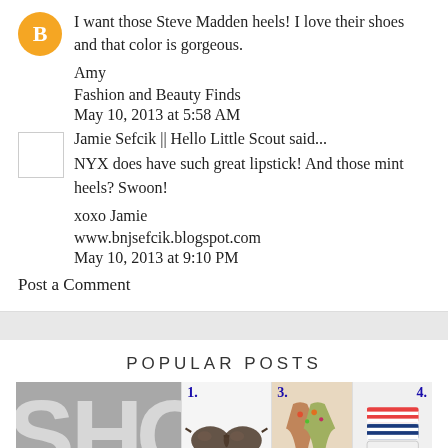I want those Steve Madden heels! I love their shoes and that color is gorgeous.
Amy
Fashion and Beauty Finds
May 10, 2013 at 5:58 AM
Jamie Sefcik || Hello Little Scout said...
NYX does have such great lipstick! And those mint heels? Swoon!
xoxo Jamie
www.bnjsefcik.blogspot.com
May 10, 2013 at 9:10 PM
Post a Comment
POPULAR POSTS
[Figure (photo): Popular posts thumbnails including shop graphic, sunglasses numbered 1, floral dresses numbered 3, and striped phone cases numbered 4]